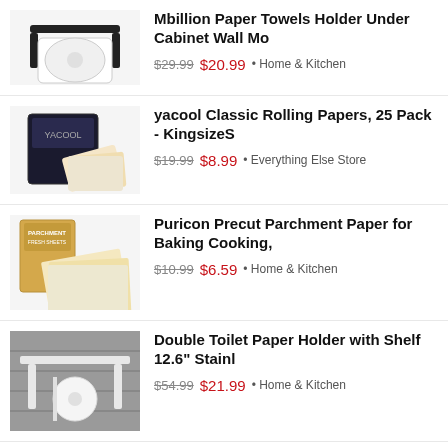Mbillion Paper Towels Holder Under Cabinet Wall Mo
$29.99 $20.99 • Home & Kitchen
yacool Classic Rolling Papers, 25 Pack - KingsizeS
$19.99 $8.99 • Everything Else Store
Puricon Precut Parchment Paper for Baking Cooking,
$10.99 $6.59 • Home & Kitchen
Double Toilet Paper Holder with Shelf 12.6" Stainl
$54.99 $21.99 • Home & Kitchen
Faux 3D Brick Wallpaper Peel and Stick